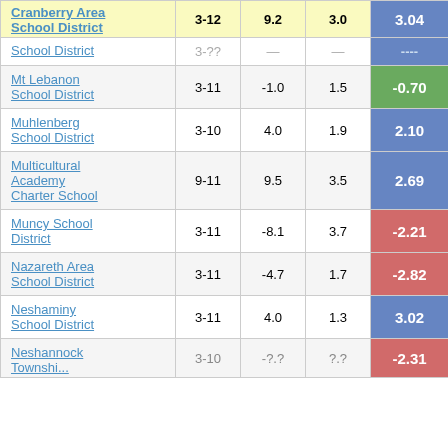| School/District | Grades | Col3 | Col4 | Score |
| --- | --- | --- | --- | --- |
| Cranberry Area School District | 3-12 | 9.2 | 3.0 | 3.04 |
| School District | 3-?? | ?? | ?? | ---- |
| Mt Lebanon School District | 3-11 | -1.0 | 1.5 | -0.70 |
| Muhlenberg School District | 3-10 | 4.0 | 1.9 | 2.10 |
| Multicultural Academy Charter School | 9-11 | 9.5 | 3.5 | 2.69 |
| Muncy School District | 3-11 | -8.1 | 3.7 | -2.21 |
| Nazareth Area School District | 3-11 | -4.7 | 1.7 | -2.82 |
| Neshaminy School District | 3-11 | 4.0 | 1.3 | 3.02 |
| Neshannock Township... | 3-10 | ?? | ?? | -2.31 |